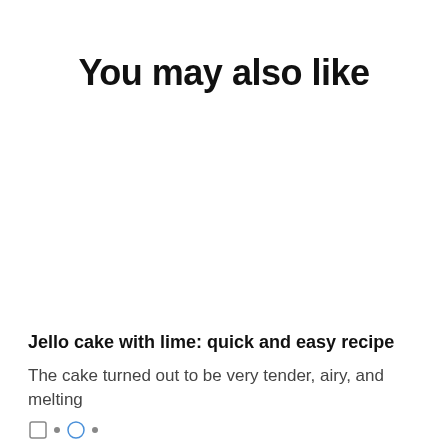You may also like
Jello cake with lime: quick and easy recipe
The cake turned out to be very tender, airy, and melting